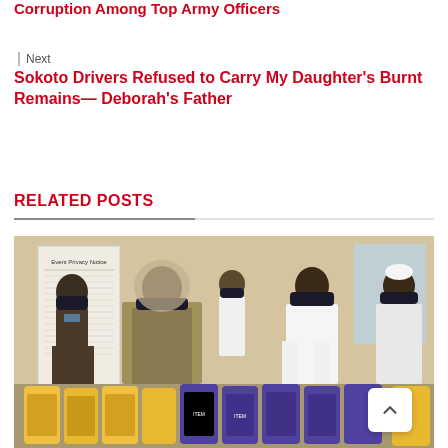Corruption Among Top Army Officers
Next
Sokoto Drivers Refused to Carry My Daughter's Burnt Remains— Deborah's Father
RELATED POSTS
[Figure (photo): Group of people wearing face masks standing in front of a banner reading 'Event Privacy Notice', with bags of food items in the foreground. Indoor setting.]